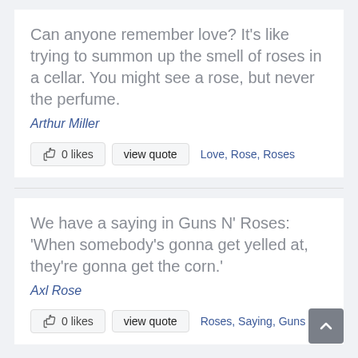Can anyone remember love? It's like trying to summon up the smell of roses in a cellar. You might see a rose, but never the perfume.
Arthur Miller
0 likes   view quote   Love, Rose, Roses
We have a saying in Guns N' Roses: 'When somebody's gonna get yelled at, they're gonna get the corn.'
Axl Rose
0 likes   view quote   Roses, Saying, Guns